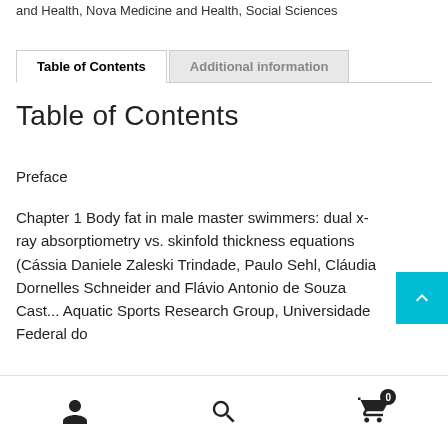and Health, Nova Medicine and Health, Social Sciences
Table of Contents
Table of Contents
Preface
Chapter 1 Body fat in male master swimmers: dual x-ray absorptiometry vs. skinfold thickness equations (Cássia Daniele Zaleski Trindade, Paulo Sehl, Cláudia Dornelles Schneider and Flávio Antonio de Souza Cast... Aquatic Sports Research Group, Universidade Federal do